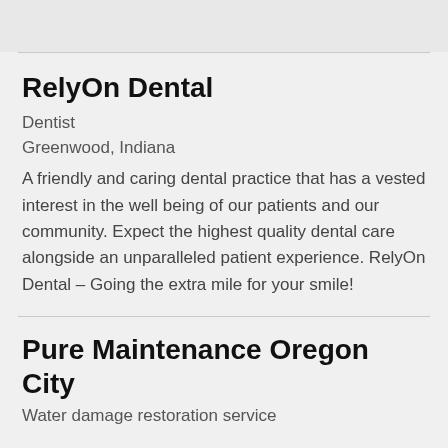RelyOn Dental
Dentist
Greenwood, Indiana
A friendly and caring dental practice that has a vested interest in the well being of our patients and our community. Expect the highest quality dental care alongside an unparalleled patient experience. RelyOn Dental – Going the extra mile for your smile!
Pure Maintenance Oregon City
Water damage restoration service